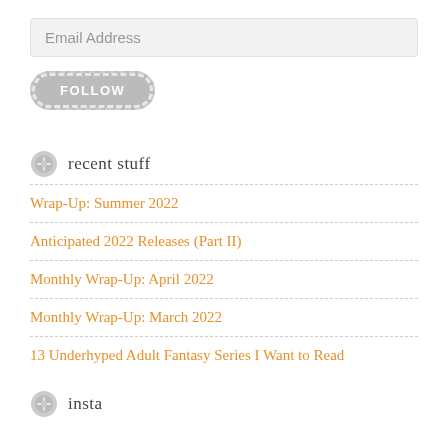Email Address
FOLLOW
recent stuff
Wrap-Up: Summer 2022
Anticipated 2022 Releases (Part II)
Monthly Wrap-Up: April 2022
Monthly Wrap-Up: March 2022
13 Underhyped Adult Fantasy Series I Want to Read
insta